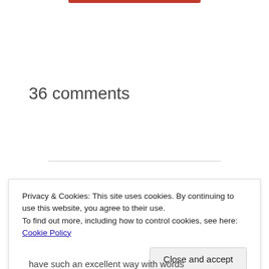36 comments
Privacy & Cookies: This site uses cookies. By continuing to use this website, you agree to their use.
To find out more, including how to control cookies, see here: Cookie Policy
Close and accept
have such an excellent way with words